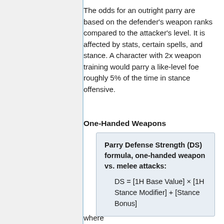The odds for an outright parry are based on the defender's weapon ranks compared to the attacker's level. It is affected by stats, certain spells, and stance. A character with 2x weapon training would parry a like-level foe roughly 5% of the time in stance offensive.
One-Handed Weapons
Parry Defense Strength (DS) formula, one-handed weapon vs. melee attacks:
DS = [1H Base Value] × [1H Stance Modifier] + [Stance Bonus]
where